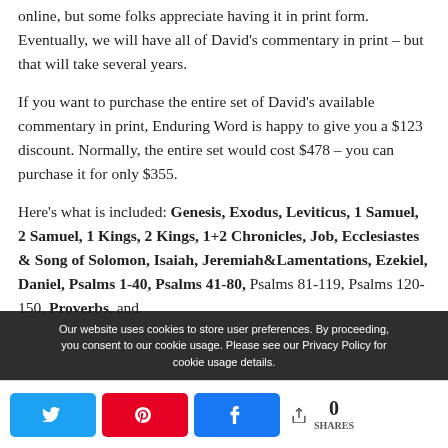online, but some folks appreciate having it in print form. Eventually, we will have all of David's commentary in print – but that will take several years.
If you want to purchase the entire set of David's available commentary in print, Enduring Word is happy to give you a $123 discount. Normally, the entire set would cost $478 – you can purchase it for only $355.
Here's what is included: Genesis, Exodus, Leviticus, 1 Samuel, 2 Samuel, 1 Kings, 2 Kings, 1+2 Chronicles, Job, Ecclesiastes & Song of Solomon, Isaiah, Jeremiah&Lamentations, Ezekiel, Daniel, Psalms 1-40, Psalms 41-80, Psalms 81-119, Psalms 120-150, Proverbs, and
Our website uses cookies to store user preferences. By proceeding, you consent to our cookie usage. Please see our Privacy Policy for cookie usage details.